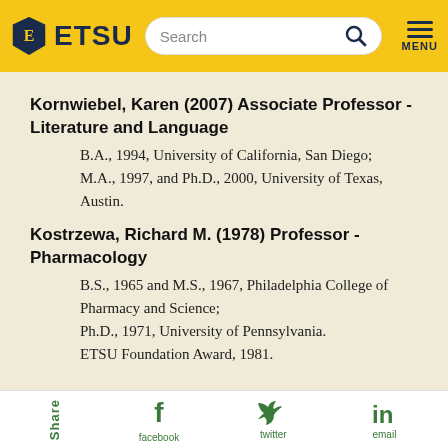[Figure (logo): ETSU logo with shield and yellow navigation bar with search field and menu]
Kornwiebel, Karen (2007) Associate Professor - Literature and Language
B.A., 1994, University of California, San Diego; M.A., 1997, and Ph.D., 2000, University of Texas, Austin.
Kostrzewa, Richard M. (1978) Professor - Pharmacology
B.S., 1965 and M.S., 1967, Philadelphia College of Pharmacy and Science; Ph.D., 1971, University of Pennsylvania. ETSU Foundation Award, 1981.
Share  facebook  twitter  email